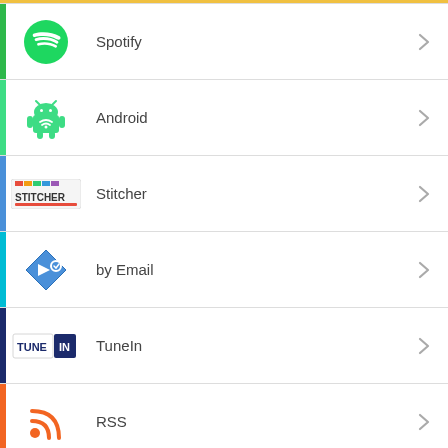Spotify
Android
Stitcher
by Email
TuneIn
RSS
Show-specific iTunes feeds: